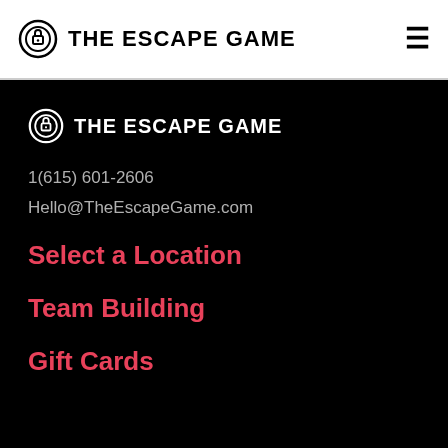THE ESCAPE GAME
[Figure (logo): The Escape Game logo with lock icon, shown in dark section]
1(615) 601-2606
Hello@TheEscapeGame.com
Select a Location
Team Building
Gift Cards